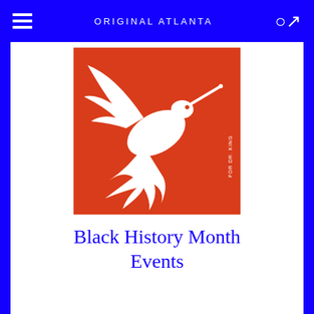ORIGINAL ATLANTA
[Figure (illustration): White silhouette of a bird (hummingbird/crane) in flight holding a pen or stick in its beak, on an orange-red background. Small text 'FOR DR. KING' written vertically on the right side of the image.]
Black History Month Events